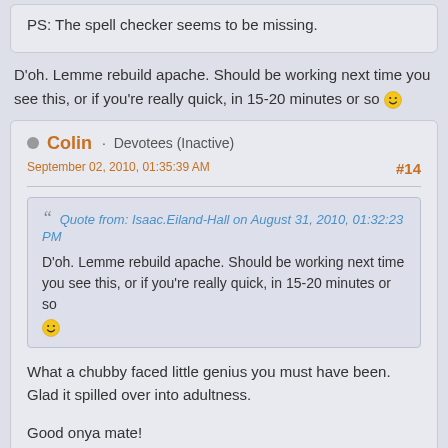PS: The spell checker seems to be missing.
D'oh. Lemme rebuild apache. Should be working next time you see this, or if you're really quick, in 15-20 minutes or so :)
Colin · Devotees (Inactive)
September 02, 2010, 01:35:39 AM
#14
Quote from: Isaac.Eiland-Hall on August 31, 2010, 01:32:23 PM
D'oh. Lemme rebuild apache. Should be working next time you see this, or if you're really quick, in 15-20 minutes or so :)
What a chubby faced little genius you must have been. Glad it spilled over into adultness.
Good onya mate!